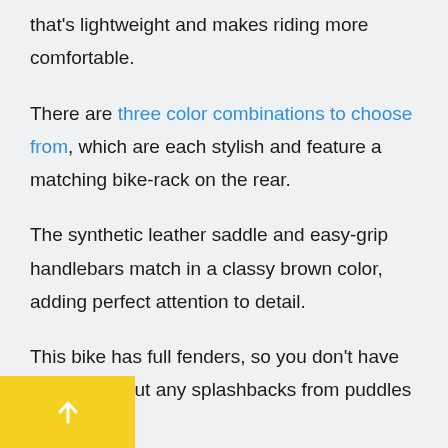that's lightweight and makes riding more comfortable.
There are three color combinations to choose from, which are each stylish and feature a matching bike-rack on the rear.
The synthetic leather saddle and easy-grip handlebars match in a classy brown color, adding perfect attention to detail.
This bike has full fenders, so you don't have to worry about any splashbacks from puddles or terrain.